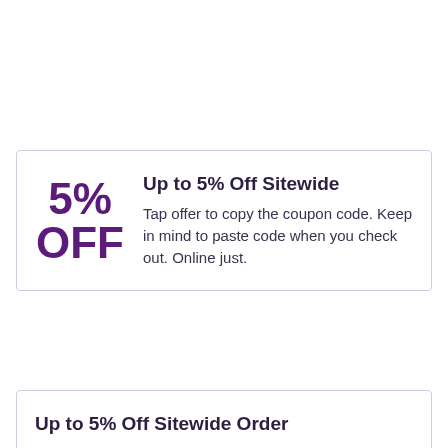[Figure (infographic): Coupon box with '5% OFF' in large purple text on the left and title 'Up to 5% Off Sitewide' with description text on the right]
Up to 5% Off Sitewide
Tap offer to copy the coupon code. Keep in mind to paste code when you check out. Online just.
Up to 5% Off Sitewide Order